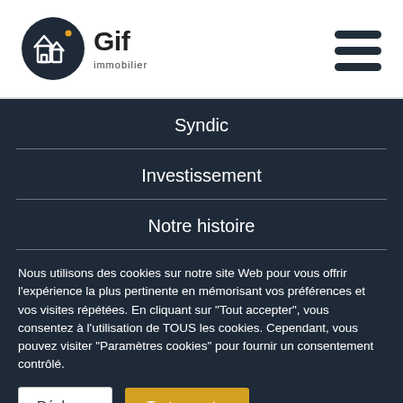[Figure (logo): Gif Immobilier logo: circular dark icon with building/house graphic, text 'Gif immobilier']
[Figure (other): Hamburger menu icon with three dark horizontal bars]
Syndic
Investissement
Notre histoire
Nous utilisons des cookies sur notre site Web pour vous offrir l'expérience la plus pertinente en mémorisant vos préférences et vos visites répétées. En cliquant sur "Tout accepter", vous consentez à l'utilisation de TOUS les cookies. Cependant, vous pouvez visiter "Paramètres cookies" pour fournir un consentement contrôlé.
Réglages
Tout accepter